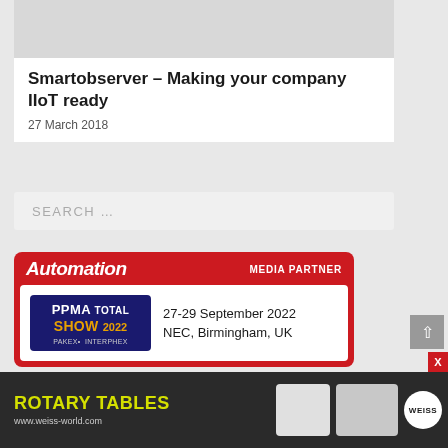[Figure (photo): Gray image placeholder at top of article card]
Smartobserver – Making your company IIoT ready
27 March 2018
SEARCH …
[Figure (infographic): Automation magazine Media Partner banner for PPMA Total Show 2022, 27-29 September 2022, NEC, Birmingham, UK]
[Figure (infographic): Bottom banner advertisement: ROTARY TABLES by Weiss, www.weiss-world.com, showing rotary table devices]